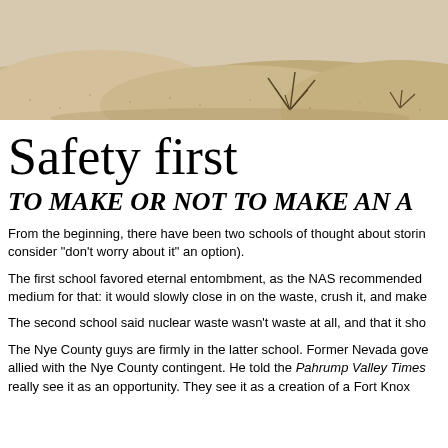[Figure (photo): Aerial or close-up photograph of desert sand and sparse desert vegetation, sandy dunes with small shrubs]
Safety first
TO MAKE OR NOT TO MAKE AN A
From the beginning, there have been two schools of thought about storin consider "don't worry about it" an option).
The first school favored eternal entombment, as the NAS recommended medium for that: it would slowly close in on the waste, crush it, and make
The second school said nuclear waste wasn't waste at all, and that it sho
The Nye County guys are firmly in the latter school. Former Nevada gove allied with the Nye County contingent. He told the Pahrump Valley Times really see it as an opportunity. They see it as a creation of a Fort Knox